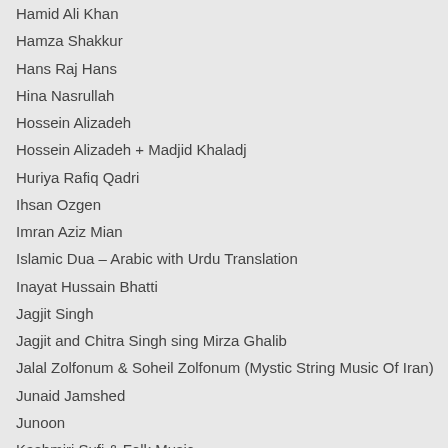Hamid Ali Khan
Hamza Shakkur
Hans Raj Hans
Hina Nasrullah
Hossein Alizadeh
Hossein Alizadeh + Madjid Khaladj
Huriya Rafiq Qadri
Ihsan Ozgen
Imran Aziz Mian
Islamic Dua – Arabic with Urdu Translation
Inayat Hussain Bhatti
Jagjit Singh
Jagjit and Chitra Singh sing Mirza Ghalib
Jalal Zolfonum & Soheil Zolfonum (Mystic String Music Of Iran)
Junaid Jamshed
Junoon
Kashmiri Sufi & Folk Music
Kavita Seth & Brij Bhushan
Kazi Nazrul Islam (Rebel Poet of Bengal)